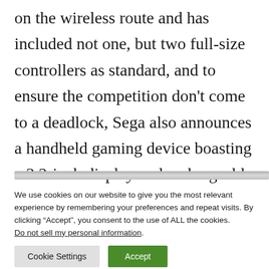on the wireless route and has included not one, but two full-size controllers as standard, and to ensure the competition don't come to a deadlock, Sega also announces a handheld gaming device boasting a 3.2-inch display and rechargeable battery.
We use cookies on our website to give you the most relevant experience by remembering your preferences and repeat visits. By clicking “Accept”, you consent to the use of ALL the cookies. Do not sell my personal information.
Cookie Settings
Accept